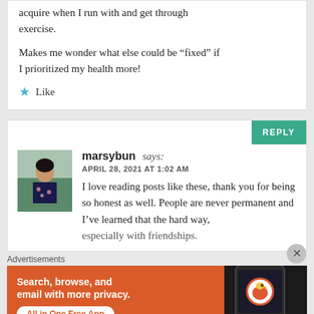acquire when I run with and get through exercise.

Makes me wonder what else could be "fixed" if I prioritized my health more!
Like
marsybun says: APRIL 28, 2021 AT 1:02 AM
I love reading posts like these, thank you for being so honest as well. People are never permanent and I've learned that the hard way, especially with friendships.
[Figure (photo): Avatar photo of commenter marsybun - woman sitting outdoors]
Advertisements
[Figure (screenshot): DuckDuckGo advertisement - Search, browse, and email with more privacy. All in One Free App. Shows phone with DuckDuckGo logo.]